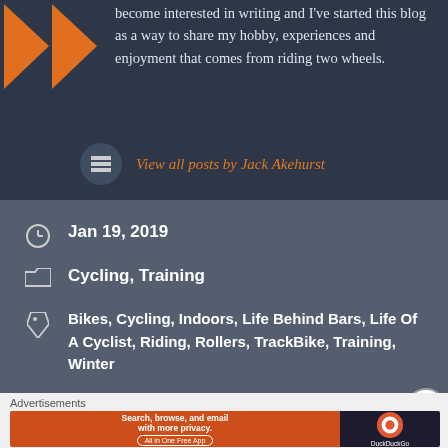become interested in writing and I've started this blog as a way to share my hobby, experiences and enjoyment that comes from riding two wheels.
View all posts by Jack Akehurst
Jan 19, 2019
Cycling, Training
Bikes, Cycling, Indoors, Life Behind Bars, Life Of A Cyclist, Riding, Rollers, TrackBike, Training, Winter
Picture or Personal Best?
Advertisements
[Figure (screenshot): DuckDuckGo advertisement banner: 'Search, browse, and email with more privacy. All in One Free App']